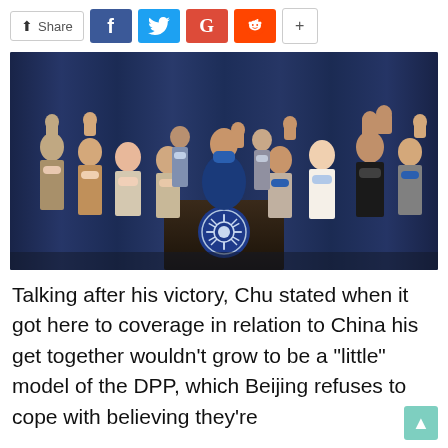[Figure (other): Social share bar with Share label, Facebook, Twitter, Google+, Reddit buttons and a plus button]
[Figure (photo): Group of people wearing masks raising fists in celebration behind a podium with a Kuomintang (KMT) party emblem, with blue curtain background]
Talking after his victory, Chu stated when it got here to coverage in relation to China his get together wouldn't grow to be a "little" model of the DPP, which Beijing refuses to cope with believing they're